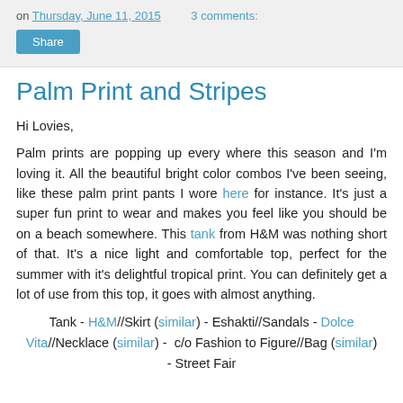on Thursday, June 11, 2015   3 comments:
Share
Palm Print and Stripes
Hi Lovies,
Palm prints are popping up every where this season and I'm loving it. All the beautiful bright color combos I've been seeing, like these palm print pants I wore here for instance. It's just a super fun print to wear and makes you feel like you should be on a beach somewhere. This tank from H&M was nothing short of that. It's a nice light and comfortable top, perfect for the summer with it's delightful tropical print. You can definitely get a lot of use from this top, it goes with almost anything.
Tank - H&M//Skirt (similar) - Eshakti//Sandals - Dolce Vita//Necklace (similar) -  c/o Fashion to Figure//Bag (similar) - Street Fair